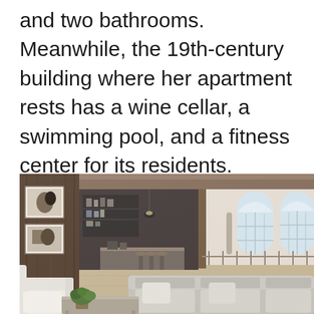and two bathrooms. Meanwhile, the 19th-century building where her apartment rests has a wine cellar, a swimming pool, and a fitness center for its residents.
[Figure (photo): Interior rendering of a modern luxury apartment living space with arched windows, wood beam ceiling, open kitchen with island, and light grey sofas in the foreground with a coffee table and plant.]